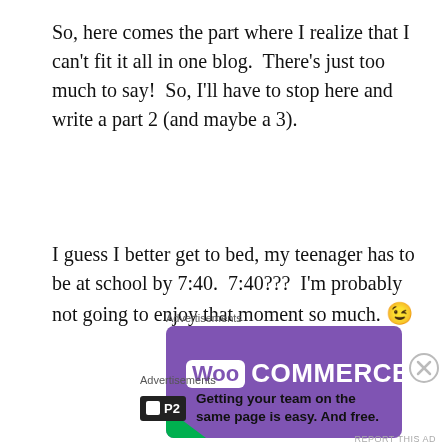So, here comes the part where I realize that I can't fit it all in one blog.  There's just too much to say!  So, I'll have to stop here and write a part 2 (and maybe a 3).
I guess I better get to bed, my teenager has to be at school by 7:40.  7:40???  I'm probably not going to enjoy that moment so much. 😉
Advertisements
[Figure (logo): WooCommerce advertisement banner with purple background and white WooCommerce logo text]
Advertisements
[Figure (logo): P2 advertisement: Getting your team on the same page is easy. And free.]